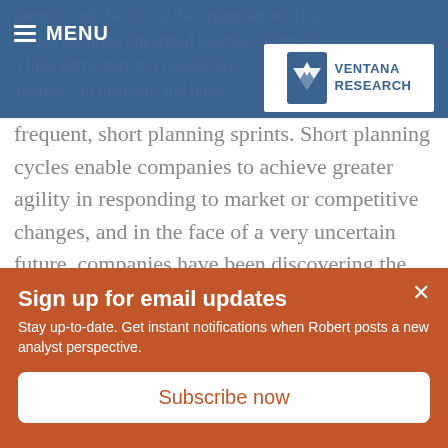MENU | Ventana Research
partner with the rest of the organization. This means adopting integrated business planning, a high participation, collaborative approach to planning and budgeting, with frequent, short planning sprints. Short planning cycles enable companies to achieve greater agility in responding to market or competitive changes, and in the face of a very uncertain future, companies have been discovering the value of rapid planning and budgeting cycles. Watch the video to learn more.
Sign up for email updates
Stay up-to-date. Get instant notifications when Robert posts a new analyst perspective.
Subscribe now